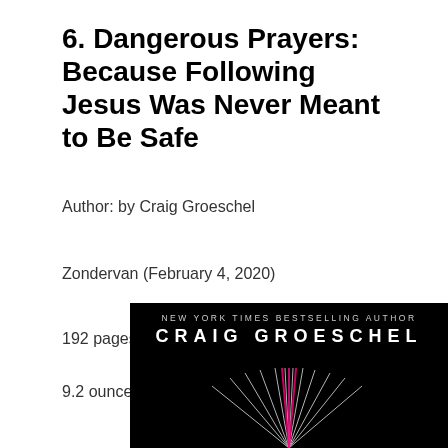6. Dangerous Prayers: Because Following Jesus Was Never Meant to Be Safe
Author: by Craig Groeschel
Zondervan (February 4, 2020)
192 pages
9.2 ounces
[Figure (photo): Book cover for Dangerous Prayers by Craig Groeschel. Black background with text 'NEW YORK TIMES BESTSELLING AUTHOR' and 'CRAIG GROESCHEL' in large letters, with decorative spark/firework lines radiating from the bottom center in pink/white.]